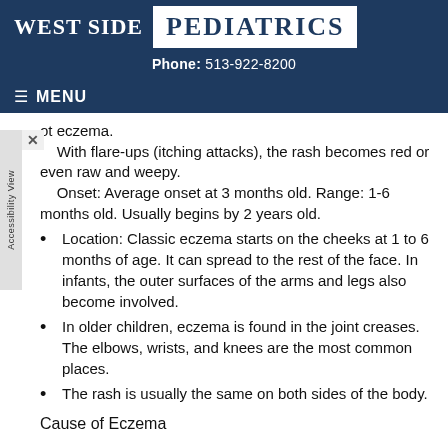West Side Pediatrics — Phone: 513-922-8200
of eczema.
    With flare-ups (itching attacks), the rash becomes red or even raw and weepy.
    Onset: Average onset at 3 months old. Range: 1-6 months old. Usually begins by 2 years old.
Location: Classic eczema starts on the cheeks at 1 to 6 months of age. It can spread to the rest of the face. In infants, the outer surfaces of the arms and legs also become involved.
In older children, eczema is found in the joint creases. The elbows, wrists, and knees are the most common places.
The rash is usually the same on both sides of the body.
Cause of Eczema